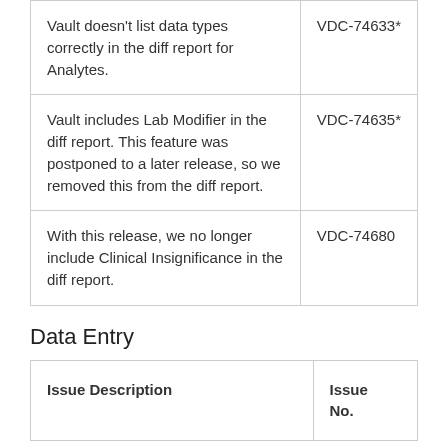| Issue Description | Issue No. |
| --- | --- |
| Vault doesn't list data types correctly in the diff report for Analytes. | VDC-74633* |
| Vault includes Lab Modifier in the diff report. This feature was postponed to a later release, so we removed this from the diff report. | VDC-74635* |
| With this release, we no longer include Clinical Insignificance in the diff report. | VDC-74680 |
Data Entry
| Issue Description | Issue No. |
| --- | --- |